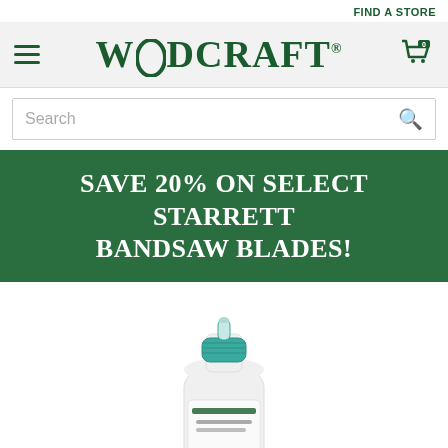FIND A STORE
[Figure (logo): Woodcraft logo with hamburger menu icon on left and shopping cart icon on right]
Search
SAVE 20% ON SELECT STARRETT BANDSAW BLADES!
[Figure (photo): A white plastic glue bottle with a teal/green cap and a small nozzle tip, partially visible at the bottom of the page]